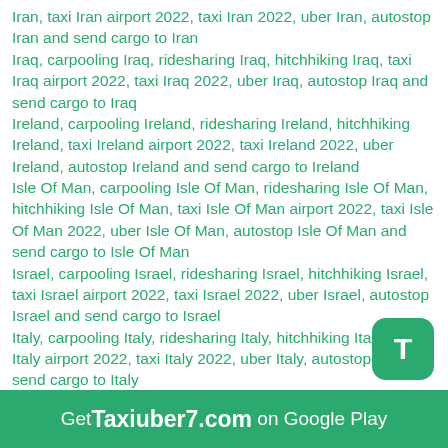Iran, taxi Iran airport 2022, taxi Iran 2022, uber Iran, autostop Iran and send cargo to Iran
Iraq, carpooling Iraq, ridesharing Iraq, hitchhiking Iraq, taxi Iraq airport 2022, taxi Iraq 2022, uber Iraq, autostop Iraq and send cargo to Iraq
Ireland, carpooling Ireland, ridesharing Ireland, hitchhiking Ireland, taxi Ireland airport 2022, taxi Ireland 2022, uber Ireland, autostop Ireland and send cargo to Ireland
Isle Of Man, carpooling Isle Of Man, ridesharing Isle Of Man, hitchhiking Isle Of Man, taxi Isle Of Man airport 2022, taxi Isle Of Man 2022, uber Isle Of Man, autostop Isle Of Man and send cargo to Isle Of Man
Israel, carpooling Israel, ridesharing Israel, hitchhiking Israel, taxi Israel airport 2022, taxi Israel 2022, uber Israel, autostop Israel and send cargo to Israel
Italy, carpooling Italy, ridesharing Italy, hitchhiking Italy, taxi Italy airport 2022, taxi Italy 2022, uber Italy, autostop Italy and send cargo to Italy
Ivory Coast, carpooling Ivory Coast, ridesharing Ivory Coast, hitchhiking Ivory Coast, taxi Ivory Coast airport 2022, taxi Ivory Coast 2022, uber Ivory Coast, autostop Ivory Coast and send cargo to Ivory Coast
[Figure (other): Green rounded square button with white letter T]
Get Taxiuber7.com on Google Play